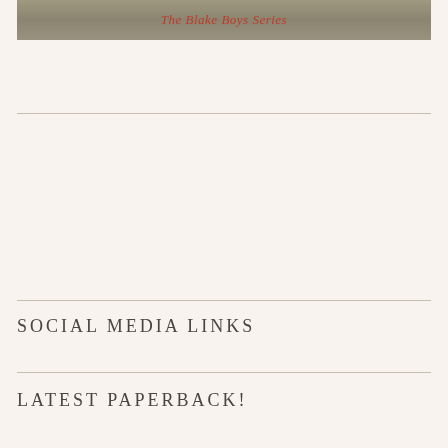The Blake Boys Series
SOCIAL MEDIA LINKS
LATEST PAPERBACK!